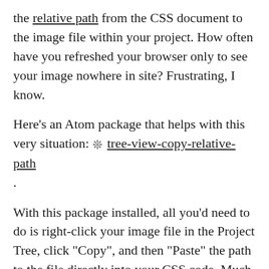the relative path from the CSS document to the image file within your project. How often have you refreshed your browser only to see your image nowhere in site? Frustrating, I know.
Here's an Atom package that helps with this very situation: ❊ tree-view-copy-relative-path.
With this package installed, all you'd need to do is right-click your image file in the Project Tree, click "Copy", and then "Paste" the path to the file directly into your CSS code. Much easier!